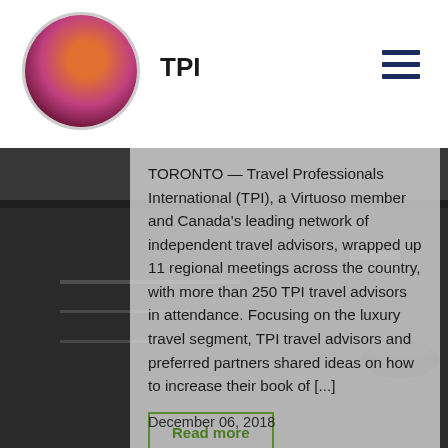TPI
[Figure (photo): Circular avatar photo of a woman with pink/red hair against a dark background, positioned in the top-left of the header.]
TORONTO — Travel Professionals International (TPI), a Virtuoso member and Canada's leading network of independent travel advisors, wrapped up 11 regional meetings across the country, with more than 250 TPI travel advisors in attendance. Focusing on the luxury travel segment, TPI travel advisors and preferred partners shared ideas on how to increase their book of [...]
Read more
December 06, 2018